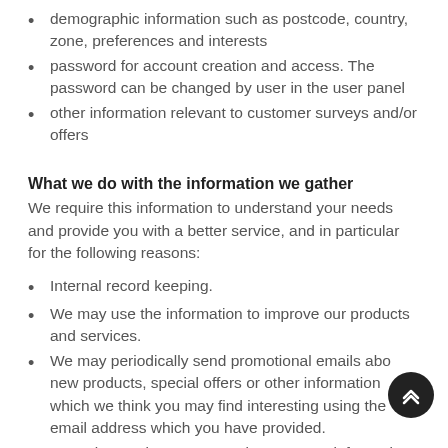demographic information such as postcode, country, zone, preferences and interests
password for account creation and access. The password can be changed by user in the user panel
other information relevant to customer surveys and/or offers
What we do with the information we gather
We require this information to understand your needs and provide you with a better service, and in particular for the following reasons:
Internal record keeping.
We may use the information to improve our products and services.
We may periodically send promotional emails about new products, special offers or other information which we think you may find interesting using the email address which you have provided.
From time to time, we may also use your information to contact you for market research purposes. We may contact you by email, phone, fax